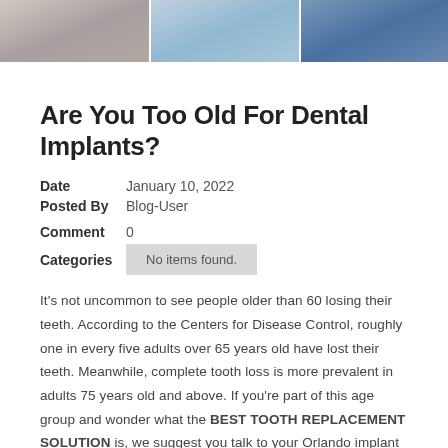[Figure (photo): Top strip photo showing dental professionals or patients in a clinical setting, cropped to show upper portion only.]
Are You Too Old For Dental Implants?
Date  January 10, 2022
Posted By  Blog-User
Comment  0
Categories  No items found.
It’s not uncommon to see people older than 60 losing their teeth. According to the Centers for Disease Control, roughly one in every five adults over 65 years old have lost their teeth. Meanwhile, complete tooth loss is more prevalent in adults 75 years old and above. If you’re part of this age group and wonder what the BEST TOOTH REPLACEMENT SOLUTION is, we suggest you talk to your Orlando implant